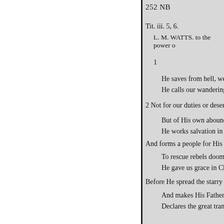252 NB
Tit. iii. 5, 6.
L. M. WATTS. to the power of
1
He saves from hell, we bles
He calls our wandering feet
2 Not for our duties or deserts,
But of His own abounding g
He works salvation in our h
And forms a people for His prais
To rescue rebels doomed to
He gave us grace in Christ b
Before He spread the starry sk
And makes His Father's cou
Declares the great transacti